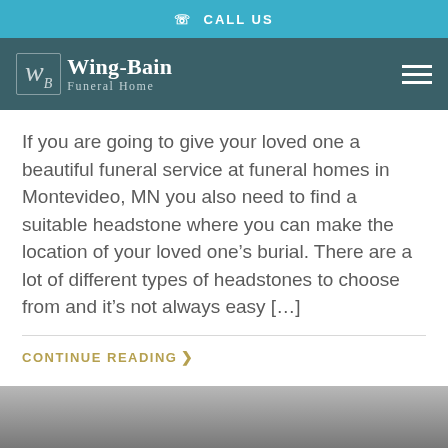CALL US
[Figure (logo): Wing-Bain Funeral Home logo with cursive WB monogram on teal/dark background with hamburger menu icon]
If you are going to give your loved one a beautiful funeral service at funeral homes in Montevideo, MN you also need to find a suitable headstone where you can make the location of your loved one's burial. There are a lot of different types of headstones to choose from and it's not always easy […]
CONTINUE READING ❯
[Figure (photo): Bottom portion of an image, showing a dark grey to light grey gradient, appears to be a photo partially visible at bottom of page]